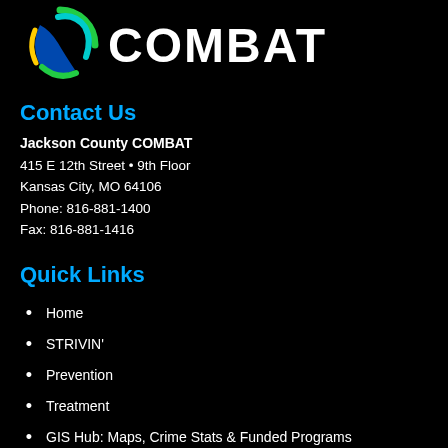[Figure (logo): Jackson County COMBAT logo with colorful circular icon and COMBAT text in white]
Contact Us
Jackson County COMBAT
415 E 12th Street • 9th Floor
Kansas City, MO 64106
Phone: 816-881-1400
Fax: 816-881-1416
Quick Links
Home
STRIVIN'
Prevention
Treatment
GIS Hub: Maps, Crime Stats & Funded Programs
Site Map